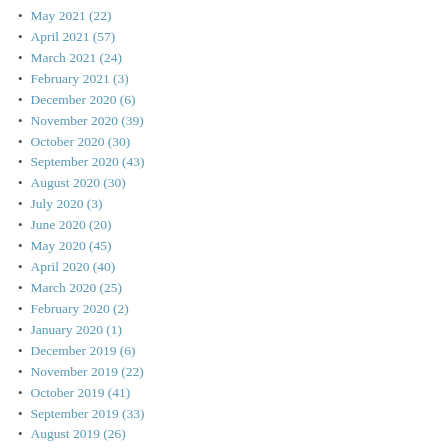May 2021 (22)
April 2021 (57)
March 2021 (24)
February 2021 (3)
December 2020 (6)
November 2020 (39)
October 2020 (30)
September 2020 (43)
August 2020 (30)
July 2020 (3)
June 2020 (20)
May 2020 (45)
April 2020 (40)
March 2020 (25)
February 2020 (2)
January 2020 (1)
December 2019 (6)
November 2019 (22)
October 2019 (41)
September 2019 (33)
August 2019 (26)
July 2019 (5)
June 2019 (12)
May 2019 (113)
April 2019 (56)
March 2019 (36)
February 2019 (1)